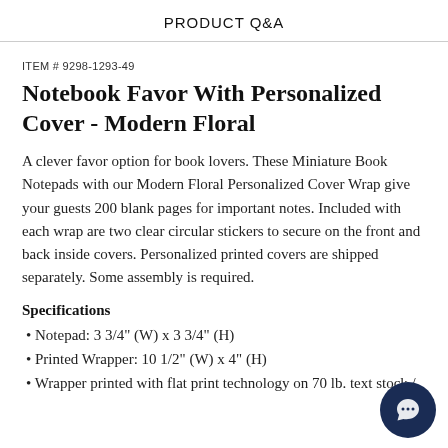PRODUCT Q&A
ITEM # 9298-1293-49
Notebook Favor With Personalized Cover - Modern Floral
A clever favor option for book lovers. These Miniature Book Notepads with our Modern Floral Personalized Cover Wrap give your guests 200 blank pages for important notes. Included with each wrap are two clear circular stickers to secure on the front and back inside covers. Personalized printed covers are shipped separately. Some assembly is required.
Specifications
Notepad: 3 3/4" (W) x 3 3/4" (H)
Printed Wrapper: 10 1/2" (W) x 4" (H)
Wrapper printed with flat print technology on 70 lb. text stock /